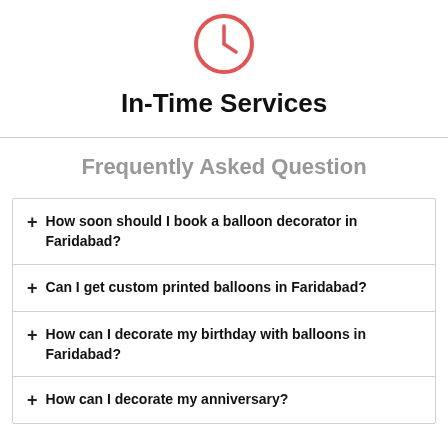[Figure (illustration): Red clock icon (circle with clock hands inside, outline style)]
In-Time Services
Frequently Asked Question
How soon should I book a balloon decorator in Faridabad?
Can I get custom printed balloons in Faridabad?
How can I decorate my birthday with balloons in Faridabad?
How can I decorate my anniversary?